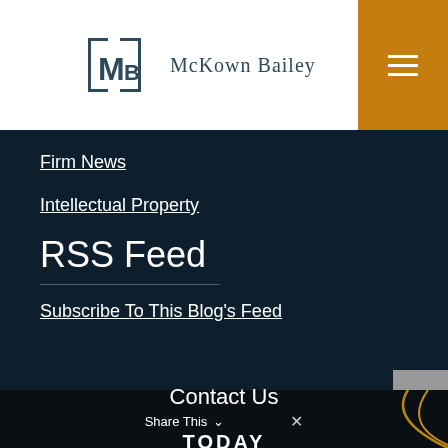[Figure (logo): McKown Bailey law firm logo with MB monogram in a square bracket design]
Firm News
Intellectual Property
RSS Feed
Subscribe To This Blog's Feed
Contact Us
Share This
TODAY